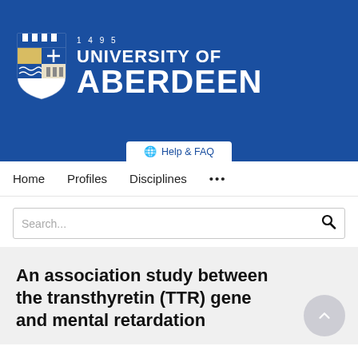[Figure (logo): University of Aberdeen logo: shield/crest with '1495' year mark, white text 'UNIVERSITY OF ABERDEEN' on blue background]
Help & FAQ
Home   Profiles   Disciplines   ...
Search...
An association study between the transthyretin (TTR) gene and mental retardation